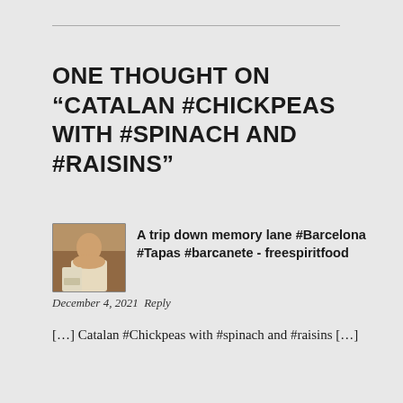ONE THOUGHT ON “CATALAN #CHICKPEAS WITH #SPINACH AND #RAISINS”
[Figure (photo): Small avatar photo of a person sitting at a table, appearing to be in a restaurant setting]
A trip down memory lane #Barcelona #Tapas #barcanete - freespiritfood
December 4, 2021  Reply
[…] Catalan #Chickpeas with #spinach and #raisins […]